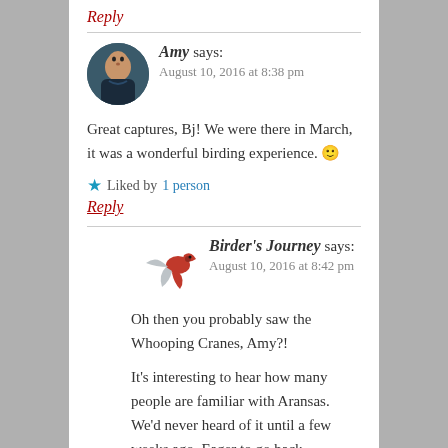Reply
Amy says:
August 10, 2016 at 8:38 pm
Great captures, Bj! We were there in March, it was a wonderful birding experience. 🙂
Liked by 1 person
Reply
Birder's Journey says:
August 10, 2016 at 8:42 pm
Oh then you probably saw the Whooping Cranes, Amy?!
It's interesting to hear how many people are familiar with Aransas. We'd never heard of it until a few weeks ago. Eager to go back sometime in the winter or early spring.